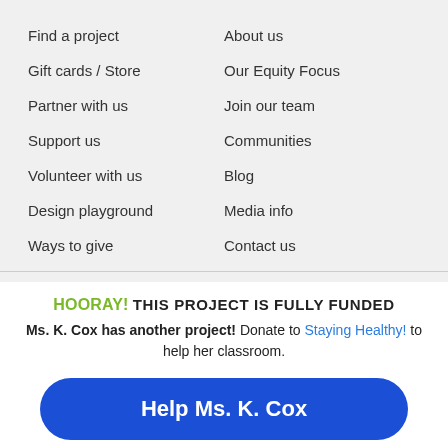Find a project
About us
Gift cards / Store
Our Equity Focus
Partner with us
Join our team
Support us
Communities
Volunteer with us
Blog
Design playground
Media info
Ways to give
Contact us
HOORAY! THIS PROJECT IS FULLY FUNDED
Ms. K. Cox has another project! Donate to Staying Healthy! to help her classroom.
Help Ms. K. Cox